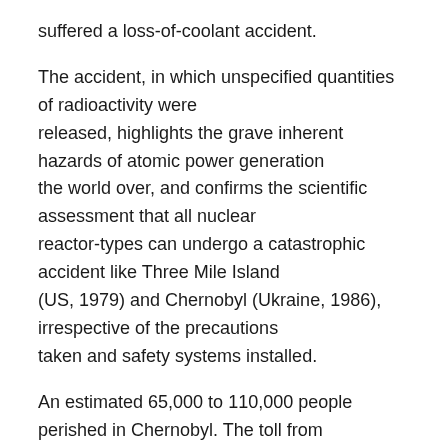suffered a loss-of-coolant accident.
The accident, in which unspecified quantities of radioactivity were released, highlights the grave inherent hazards of atomic power generation the world over, and confirms the scientific assessment that all nuclear reactor-types can undergo a catastrophic accident like Three Mile Island (US, 1979) and Chernobyl (Ukraine, 1986), irrespective of the precautions taken and safety systems installed.
An estimated 65,000 to 110,000 people perished in Chernobyl. The toll from Fukushima is as yet unknown, but is likely to be high.
The last line of text is partially cut off at the bottom of the page.